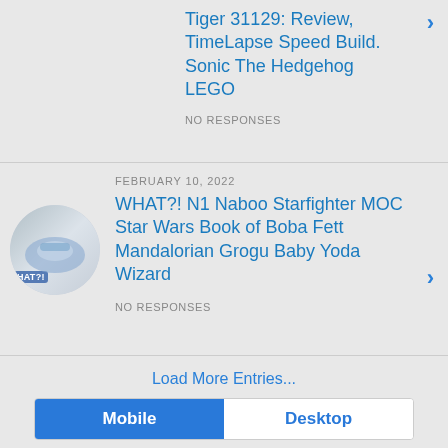Tiger 31129: Review, TimeLapse Speed Build. Sonic The Hedgehog LEGO
NO RESPONSES
FEBRUARY 10, 2022
WHAT?! N1 Naboo Starfighter MOC Star Wars Book of Boba Fett Mandalorian Grogu Baby Yoda Wizard
NO RESPONSES
Load More Entries...
Mobile   Desktop